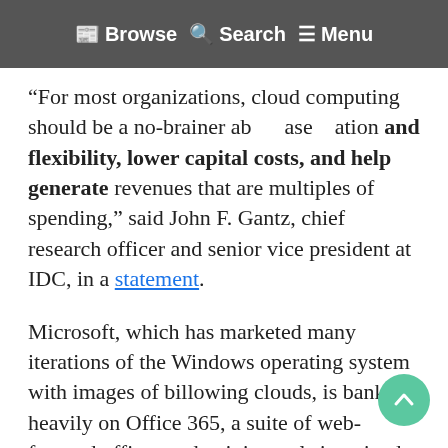Browse | Search | Menu
“For most organizations, cloud computing should be a no-brainer about because the transformation and flexibility, lower capital costs, and help generate revenues that are multiples of spending,” said John F. Gantz, chief research officer and senior vice president at IDC, in a statement.
Microsoft, which has marketed many iterations of the Windows operating system with images of billowing clouds, is banking heavily on Office 365, a suite of web-focused office productivity tools imagined as the cloud successor to the longstanding Office line. Given that focus, there’s no doubt the company wants to benefit from as many of the new cloud jobs as possible.
It’s not yet clear, though, how the service will compete with rapidly maturing free versions of similar web